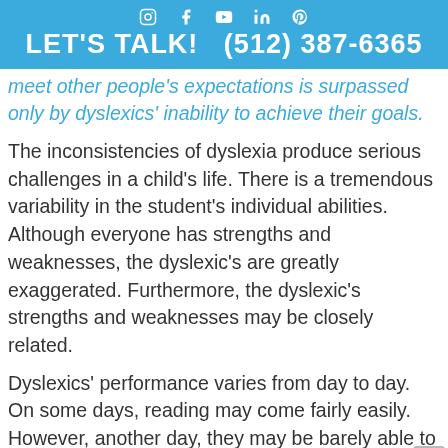LET'S TALK!  (512) 387-6365
meet other people's expectations is surpassed only by dyslexics' inability to achieve their goals.
The inconsistencies of dyslexia produce serious challenges in a child's life. There is a tremendous variability in the student's individual abilities. Although everyone has strengths and weaknesses, the dyslexic's are greatly exaggerated. Furthermore, the dyslexic's strengths and weaknesses may be closely related.
Dyslexics' performance varies from day to day. On some days, reading may come fairly easily. However, another day, they may be barely able to write their own name.